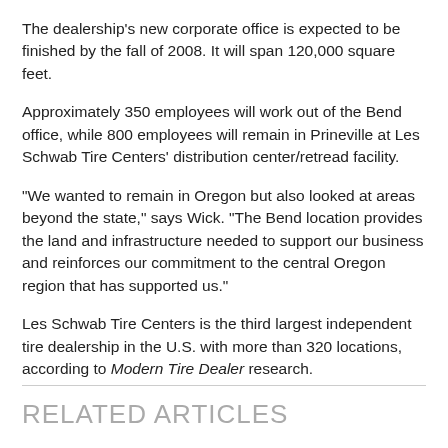The dealership's new corporate office is expected to be finished by the fall of 2008. It will span 120,000 square feet.
Approximately 350 employees will work out of the Bend office, while 800 employees will remain in Prineville at Les Schwab Tire Centers' distribution center/retread facility.
"We wanted to remain in Oregon but also looked at areas beyond the state," says Wick. "The Bend location provides the land and infrastructure needed to support our business and reinforces our commitment to the central Oregon region that has supported us."
Les Schwab Tire Centers is the third largest independent tire dealership in the U.S. with more than 320 locations, according to Modern Tire Dealer research.
RELATED ARTICLES